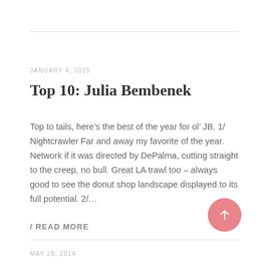JANUARY 4, 2015
Top 10: Julia Bembenek
Top to tails, here’s the best of the year for ol’ JB. 1/ Nightcrawler Far and away my favorite of the year. Network if it was directed by DePalma, cutting straight to the creep, no bull. Great LA trawl too – always good to see the donut shop landscape displayed to its full potential. 2/…
/ READ MORE
MAY 28, 2014